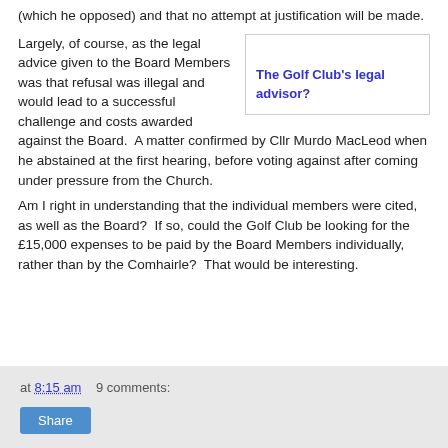(which he opposed) and that no attempt at justification will be made.
Largely, of course, as the legal advice given to the Board Members was that refusal was illegal and would lead to a successful challenge and costs awarded against the Board.  A matter confirmed by Cllr Murdo MacLeod when he abstained at the first hearing, before voting against after coming under pressure from the Church.
[Figure (other): A bordered box with the text link 'The Golf Club's legal advisor?']
Am I right in understanding that the individual members were cited, as well as the Board?  If so, could the Golf Club be looking for the £15,000 expenses to be paid by the Board Members individually, rather than by the Comhairle?  That would be interesting.
at 8:15 am   9 comments:   Share